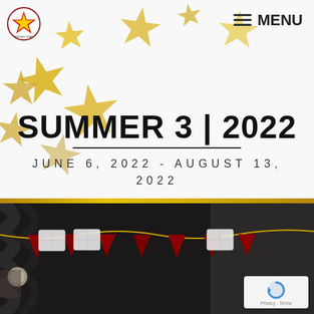[Figure (photo): Website header for Bright Star Children's Theatre showing gold stars scattered on white background with logo top-left and hamburger menu top-right]
SUMMER 3 | 2022
JUNE 6, 2022 - AUGUST 13, 2022
[Figure (photo): Bottom photo showing decorative bunting/garlands with trays and craft materials hanging against dark fabric background. reCAPTCHA badge visible in bottom-right corner.]